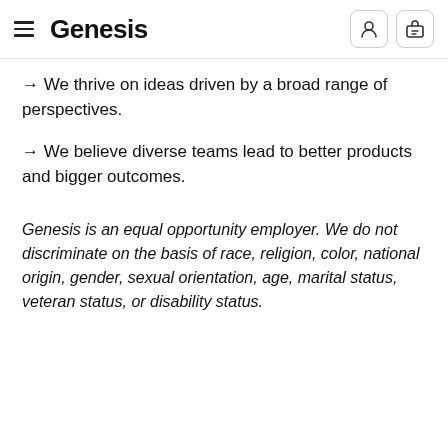Genesis
→ We thrive on ideas driven by a broad range of perspectives.
→ We believe diverse teams lead to better products and bigger outcomes.
Genesis is an equal opportunity employer. We do not discriminate on the basis of race, religion, color, national origin, gender, sexual orientation, age, marital status, veteran status, or disability status.